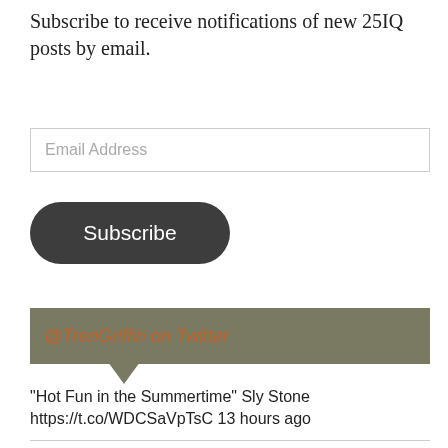Subscribe to receive notifications of new 25IQ posts by email.
Email Address
Subscribe
@TrenGriffin on Twitter
"Hot Fun in the Summertime" Sly Stone https://t.co/WDCSaVpTsC 13 hours ago
"A shortage of structural castings is the main problem, although a range of other issues are at play, such as a lac... twitter.com/i/web/status/1... 19 hours ago
"Dry powder looks to be on the decline, falling 13%